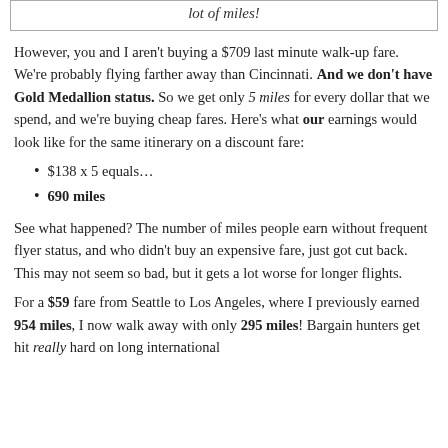lot of miles!
However, you and I aren't buying a $709 last minute walk-up fare. We're probably flying farther away than Cincinnati. And we don't have Gold Medallion status. So we get only 5 miles for every dollar that we spend, and we're buying cheap fares. Here's what our earnings would look like for the same itinerary on a discount fare:
$138 x 5 equals…
690 miles
See what happened? The number of miles people earn without frequent flyer status, and who didn't buy an expensive fare, just got cut back. This may not seem so bad, but it gets a lot worse for longer flights.
For a $59 fare from Seattle to Los Angeles, where I previously earned 954 miles, I now walk away with only 295 miles! Bargain hunters get hit really hard on long international